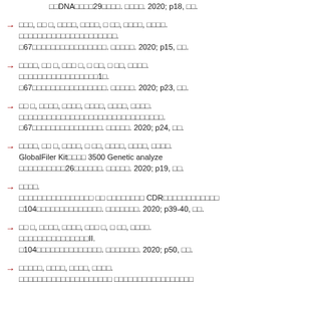□□DNA□□□□29□□□□. □□□□. 2020; p18, □□.
□□□, □□ □, □□□□, □□□□, □ □□, □□□□, □□□□.
□□□□□□□□□□□□□□□□□□□□□.
□67□□□□□□□□□□□□□□□□. □□□□□. 2020; p15, □□.
□□□□, □□ □, □□□ □, □ □□, □ □□, □□□□.
□□□□□□□□□□□□□□□□□1□.
□67□□□□□□□□□□□□□□□□. □□□□□. 2020; p23, □□.
□□ □, □□□□, □□□□, □□□□, □□□□, □□□□.
□□□□□□□□□□□□□□□□□□□□□□□□□□□□□□□.
□67□□□□□□□□□□□□□□□. □□□□□. 2020; p24, □□.
□□□□, □□ □, □□□□, □ □□, □□□□, □□□□, □□□□.
GlobalFiler Kit□□□□ 3500 Genetic analyzer
□□□□□□□□□□26□□□□□□. □□□□□. 2020; p19, □□.
□□□□.
□□□□□□□□□□□□□□□□ □□ □□□□□□□□ CDR□□□□□□□□□□□□
□104□□□□□□□□□□□□□□. □□□□□□□. 2020; p39-40, □□.
□□ □, □□□□, □□□□, □□□ □, □ □□, □□□□.
□□□□□□□□□□□□□□□II.
□104□□□□□□□□□□□□□□. □□□□□□□. 2020; p50, □□.
□□□□□, □□□□, □□□□, □□□□.
□□□□□□□□□□□□□□□□□□□□ □□□□□□□□□□□□□□□□□